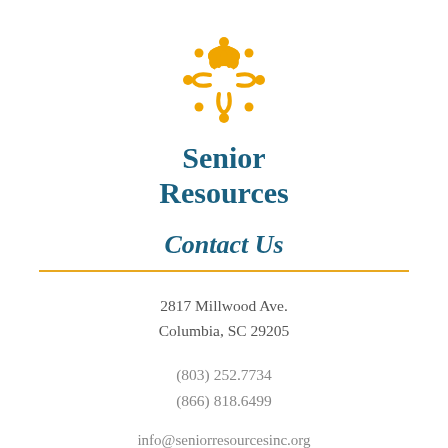[Figure (logo): Senior Resources logo: golden/amber floral/people circular emblem above the text 'Senior Resources' in teal/dark blue.]
Senior Resources
Contact Us
2817 Millwood Ave.
Columbia, SC 29205
(803) 252.7734
(866) 818.6499
info@seniorresourcesinc.org